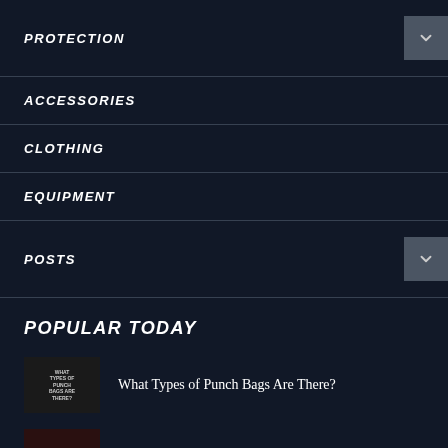PROTECTION
ACCESSORIES
CLOTHING
EQUIPMENT
POSTS
POPULAR TODAY
What Types of Punch Bags Are There?
The Truth about Shin Conditioning